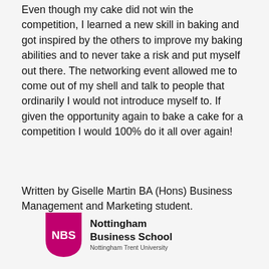Even though my cake did not win the competition, I learned a new skill in baking and got inspired by the others to improve my baking abilities and to never take a risk and put myself out there. The networking event allowed me to come out of my shell and talk to people that ordinarily I would not introduce myself to. If given the opportunity again to bake a cake for a competition I would 100% do it all over again!
Written by Giselle Martin BA (Hons) Business Management and Marketing student.
[Figure (logo): Nottingham Business School logo — a magenta shield with white 'NBS' text, beside the text 'Nottingham Business School' and 'Nottingham Trent University']